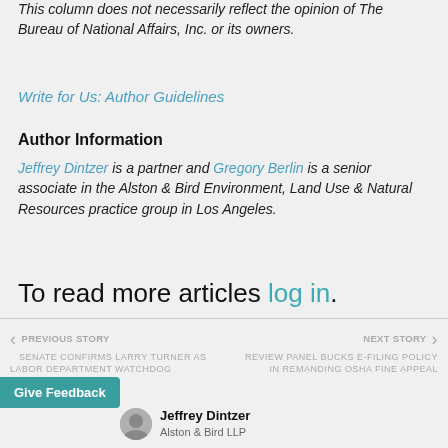This column does not necessarily reflect the opinion of The Bureau of National Affairs, Inc. or its owners.
Write for Us: Author Guidelines
Author Information
Jeffrey Dintzer is a partner and Gregory Berlin is a senior associate in the Alston & Bird Environment, Land Use & Natural Resources practice group in Los Angeles.
To read more articles log in.
Learn more about a Bloomberg Law subscription
PREVIOUS STORY
SENATE CONFIRMS LARRY TURNER AS LABOR DEPARTMENT WATCHDOG
NEXT STORY
REVIEW PANEL BUCKS E-FILING POLICY IN REMANDING OSHA FINE APPEAL
Give Feedback
Jeffrey Dintzer
Alston & Bird LLP